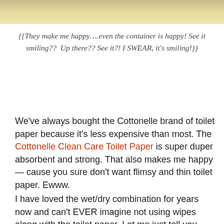[Figure (photo): Partial photo strip at top of page, showing a warm beige/golden background, likely a product container]
{{They make me happy….even the container is happy! See it smiling??  Up there?? See it?! I SWEAR, it's smiling!}}
We've always bought the Cottonelle brand of toilet paper because it's less expensive than most. The Cottonelle Clean Care Toilet Paper is super duper absorbent and strong. That also makes me happy — cause you sure don't want flimsy and thin toilet paper. Ewww.
I have loved the wet/dry combination for years now and can't EVER imagine not using wipes along with the toilet paper. Let me just tell you — do yourself.